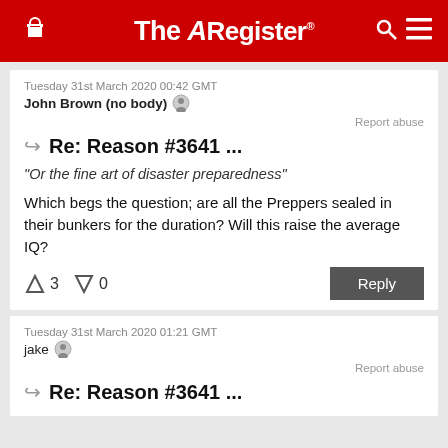The Register
Tuesday 31st March 2020 00:42 GMT
John Brown (no body)
Report abuse
Re: Reason #3641 ...
"Or the fine art of disaster preparedness"
Which begs the question; are all the Preppers sealed in their bunkers for the duration? Will this raise the average IQ?
↑3  ↓0  Reply
Tuesday 31st March 2020 01:21 GMT
jake
Report abuse
Re: Reason #3641 ...